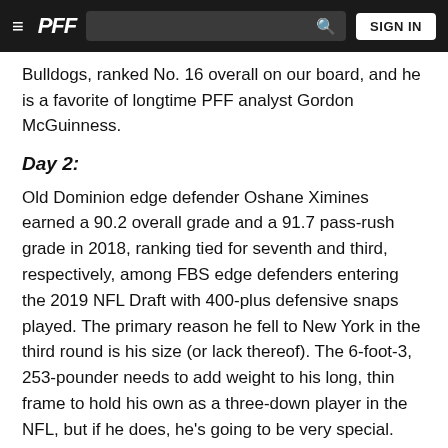≡  PFF  [search]  SIGN IN
Bulldogs, ranked No. 16 overall on our board, and he is a favorite of longtime PFF analyst Gordon McGuinness.
Day 2:
Old Dominion edge defender Oshane Ximines earned a 90.2 overall grade and a 91.7 pass-rush grade in 2018, ranking tied for seventh and third, respectively, among FBS edge defenders entering the 2019 NFL Draft with 400-plus defensive snaps played. The primary reason he fell to New York in the third round is his size (or lack thereof). The 6-foot-3, 253-pounder needs to add weight to his long, thin frame to hold his own as a three-down player in the NFL, but if he does, he's going to be very special.
Day 3: